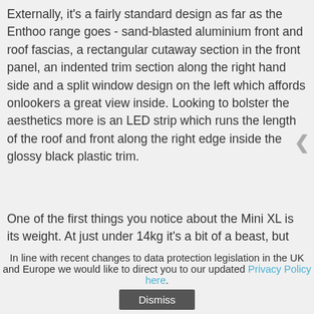Externally, it's a fairly standard design as far as the Enthoo range goes - sand-blasted aluminium front and roof fascias, a rectangular cutaway section in the front panel, an indented trim section along the right hand side and a split window design on the left which affords onlookers a great view inside. Looking to bolster the aesthetics more is an LED strip which runs the length of the roof and front along the right edge inside the glossy black plastic trim.
One of the first things you notice about the Mini XL is its weight. At just under 14kg it's a bit of a beast, but the weight is reassuring. As we've come to expect from Phanteks, the build quality is first class with very few exceptions. It's certainly expensive, but the material quality goes a long way to making up for that.
In line with recent changes to data protection legislation in the UK and Europe we would like to direct you to our updated Privacy Policy here.